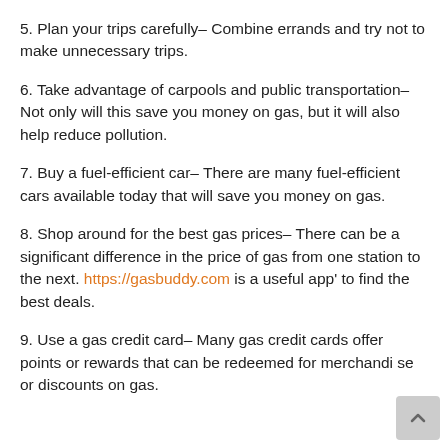5. Plan your trips carefully– Combine errands and try not to make unnecessary trips.
6. Take advantage of carpools and public transportation– Not only will this save you money on gas, but it will also help reduce pollution.
7. Buy a fuel-efficient car– There are many fuel-efficient cars available today that will save you money on gas.
8. Shop around for the best gas prices– There can be a significant difference in the price of gas from one station to the next. https://gasbuddy.com is a useful app' to find the best deals.
9. Use a gas credit card– Many gas credit cards offer points or rewards that can be redeemed for merchandise or discounts on gas.